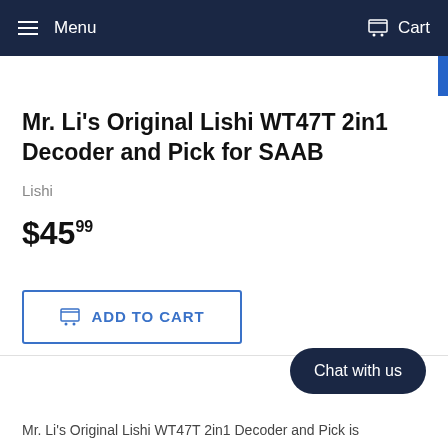Menu  Cart
Mr. Li's Original Lishi WT47T 2in1 Decoder and Pick for SAAB
Lishi
$45.99
ADD TO CART
Chat with us
Mr. Li's Original Lishi WT47T 2in1 Decoder and Pick is